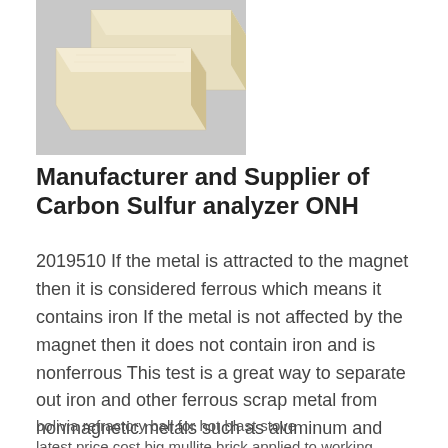[Figure (photo): Two rectangular pale/cream-colored refractory bricks photographed against a grey background]
Manufacturer and Supplier of Carbon Sulfur analyzer ONH
2019510 If the metal is attracted to the magnet then it is considered ferrous which means it contains iron If the metal is not affected by the magnet then it does not contain iron and is nonferrous This test is a great way to separate out iron and other ferrous scrap metal from nonmagnetic metals such as aluminum and brass 2 Distinctive Colors
bolivia refractory ball for hot blast stove latest price cost big mullite brick applied to working